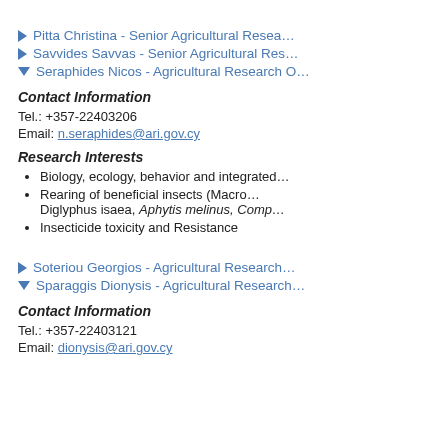Pitta Christina - Senior Agricultural Resea...
Savvides Savvas - Senior Agricultural Res...
Seraphides Nicos - Agricultural Research O...
Contact Information
Tel.: +357-22403206
Email: n.seraphides@ari.gov.cy
Research Interests
Biology, ecology, behavior and integrated...
Rearing of beneficial insects (Macro... Diglyphus isaea, Aphytis melinus, Comp...
Insecticide toxicity and Resistance
Soteriou Georgios - Agricultural Research...
Sparaggis Dionysis - Agricultural Research...
Contact Information
Tel.: +357-22403121
Email: dionysis@ari.gov.cy